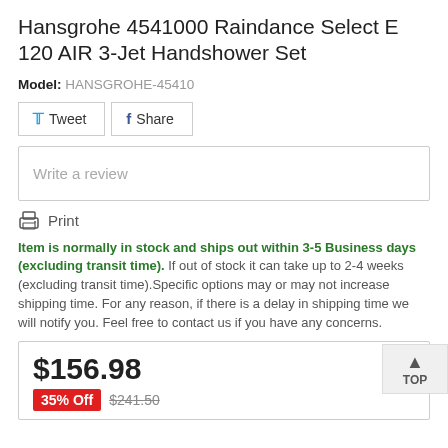Hansgrohe 4541000 Raindance Select E 120 AIR 3-Jet Handshower Set
Model: HANSGROHE-45410
Tweet  Share
Write a review
Print
Item is normally in stock and ships out within 3-5 Business days (excluding transit time). If out of stock it can take up to 2-4 weeks (excluding transit time).Specific options may or may not increase shipping time. For any reason, if there is a delay in shipping time we will notify you. Feel free to contact us if you have any concerns.
$156.98
35% Off  $241.50